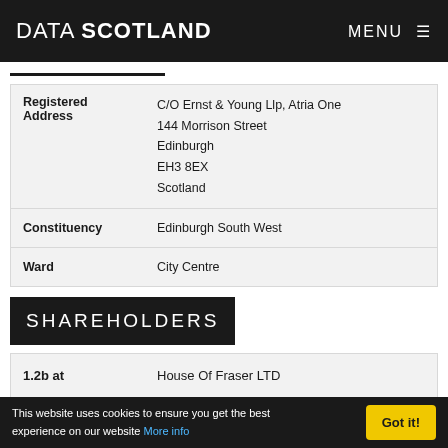DATA SCOTLAND   MENU ≡
| Registered Address | C/O Ernst & Young Llp, Atria One
144 Morrison Street
Edinburgh
EH3 8EX
Scotland |
| Constituency | Edinburgh South West |
| Ward | City Centre |
SHAREHOLDERS
| 1.2b at | House Of Fraser LTD |
This website uses cookies to ensure you get the best experience on our website More info   Got it!